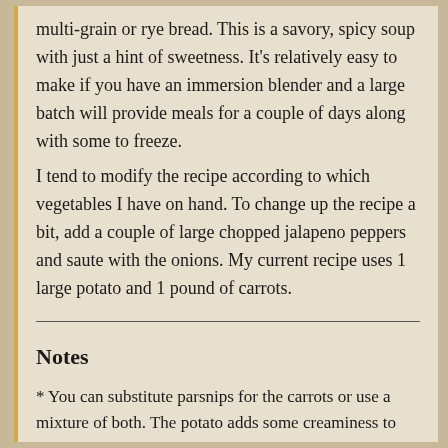multi-grain or rye bread. This is a savory, spicy soup with just a hint of sweetness. It's relatively easy to make if you have an immersion blender and a large batch will provide meals for a couple of days along with some to freeze.
I tend to modify the recipe according to which vegetables I have on hand. To change up the recipe a bit, add a couple of large chopped jalapeno peppers and saute with the onions. My current recipe uses 1 large potato and 1 pound of carrots.
Notes
* You can substitute parsnips for the carrots or use a mixture of both. The potato adds some creaminess to the soup but you can eliminate it to reduce carbs.
** I use my favorite vegetable broth called "No